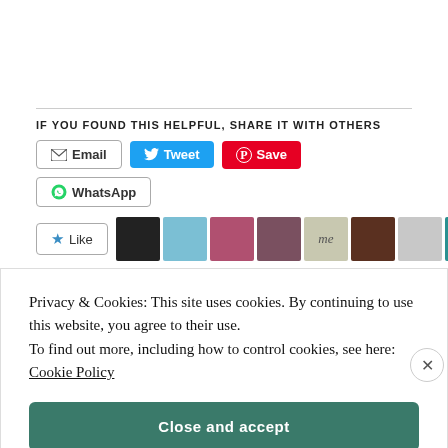IF YOU FOUND THIS HELPFUL, SHARE IT WITH OTHERS
[Figure (screenshot): Social share buttons: Email, Tweet, Save (Pinterest), WhatsApp]
[Figure (screenshot): Like button with 8 blogger avatars]
8 bloggers like this.
Privacy & Cookies: This site uses cookies. By continuing to use this website, you agree to their use. To find out more, including how to control cookies, see here: Cookie Policy
Close and accept